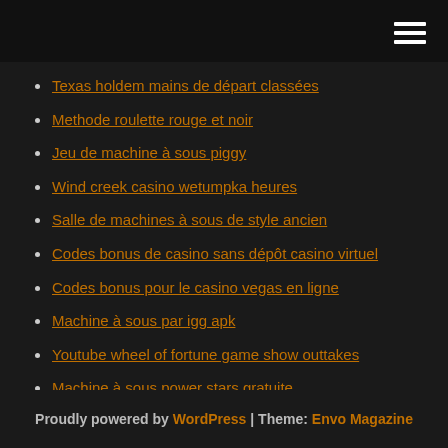[hamburger menu icon]
Texas holdem mains de départ classées
Methode roulette rouge et noir
Jeu de machine à sous piggy
Wind creek casino wetumpka heures
Salle de machines à sous de style ancien
Codes bonus de casino sans dépôt casino virtuel
Codes bonus pour le casino vegas en ligne
Machine à sous par igg apk
Youtube wheel of fortune game show outtakes
Machine à sous power stars gratuite
Codes bonus sans dépôt 21 dukes
Proudly powered by WordPress | Theme: Envo Magazine